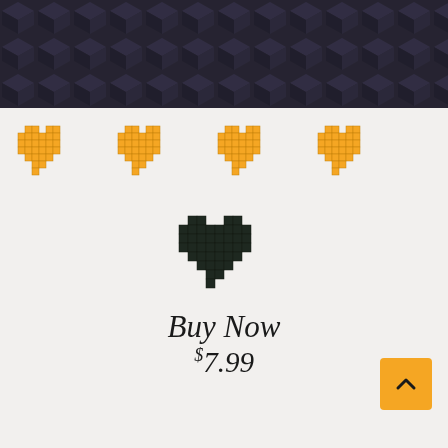[Figure (photo): Dark textured background image with geometric 3D cube-like pattern in dark charcoal/navy tones]
[Figure (infographic): Four pixel-art orange hearts in a row, followed by one smaller dark/black pixel-art heart centered below]
Buy Now
$7.99
[Figure (other): Orange square button with upward chevron arrow (back to top button)]